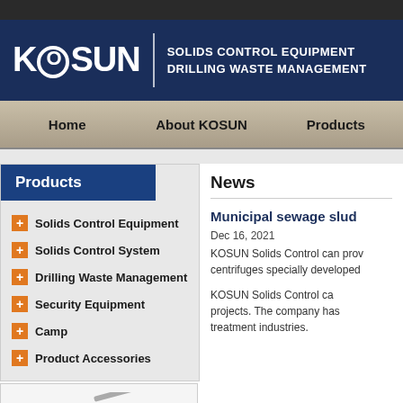[Figure (logo): KOSUN logo with white text on dark navy background, with tagline SOLIDS CONTROL EQUIPMENT DRILLING WASTE MANAGEMENT]
Home   About KOSUN   Products
Products
Solids Control Equipment
Solids Control System
Drilling Waste Management
Security Equipment
Camp
Product Accessories
News
Municipal sewage slud
Dec 16, 2021
KOSUN Solids Control can provide centrifuges specially developed for
KOSUN Solids Control can provide support for municipal sewage sludge projects. The company has extensive experience in waste treatment industries.
[Figure (photo): KOSUN branded image at bottom left corner]